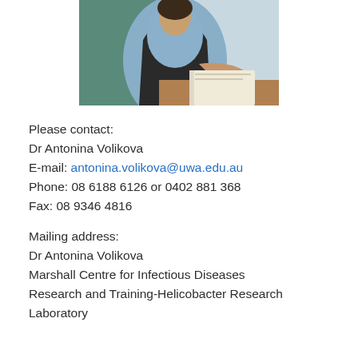[Figure (photo): Photo of Dr Antonina Volikova seated at a desk, wearing a light blue top and black vest, appearing to write or read something.]
Please contact:
Dr Antonina Volikova
E-mail: antonina.volikova@uwa.edu.au
Phone: 08 6188 6126 or 0402 881 368
Fax: 08 9346 4816
Mailing address:
Dr Antonina Volikova
Marshall Centre for Infectious Diseases
Research and Training-Helicobacter Research Laboratory